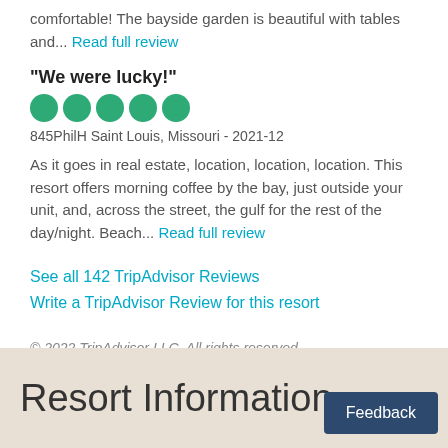comfortable! The bayside garden is beautiful with tables and... Read full review
"We were lucky!"
[Figure (other): Five green filled circles representing a 5-bubble TripAdvisor rating]
845PhilH Saint Louis, Missouri - 2021-12
As it goes in real estate, location, location, location. This resort offers morning coffee by the bay, just outside your unit, and, across the street, the gulf for the rest of the day/night. Beach... Read full review
See all 142 TripAdvisor Reviews
Write a TripAdvisor Review for this resort
© 2022 TripAdvisor LLC. All rights reserved.
Resort Information
Feedback